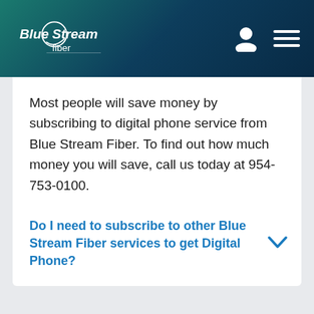[Figure (logo): Blue Stream Fiber logo with white text and circular swoosh graphic on dark teal/navy gradient header, plus user icon and hamburger menu icon]
Most people will save money by subscribing to digital phone service from Blue Stream Fiber. To find out how much money you will save, call us today at 954-753-0100.
Do I need to subscribe to other Blue Stream Fiber services to get Digital Phone?